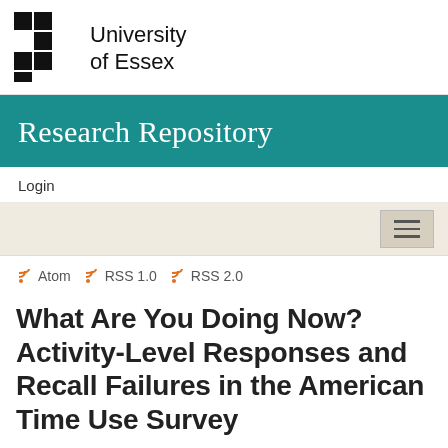University of Essex
Research Repository
Login
[Figure (other): Navigation hamburger menu button with three horizontal lines]
Atom  RSS 1.0  RSS 2.0
What Are You Doing Now? Activity-Level Responses and Recall Failures in the American Time Use Survey